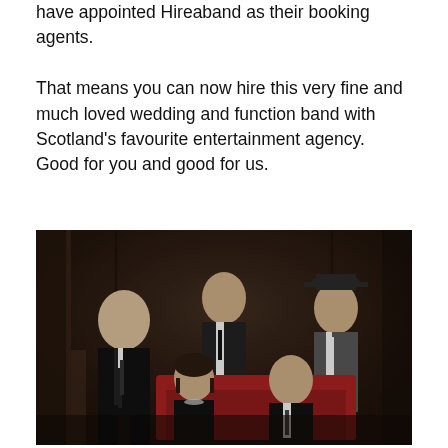have appointed Hireaband as their booking agents.

That means you can now hire this very fine and much loved wedding and function band with Scotland's favourite entertainment agency. Good for you and good for us.
[Figure (photo): A group photo of five band members dressed formally in black suits and waistcoats, posing in a dark wood-panelled room. Three men stand in the back row, one wearing a black hat. A woman and a man sit in the foreground on a red sofa.]